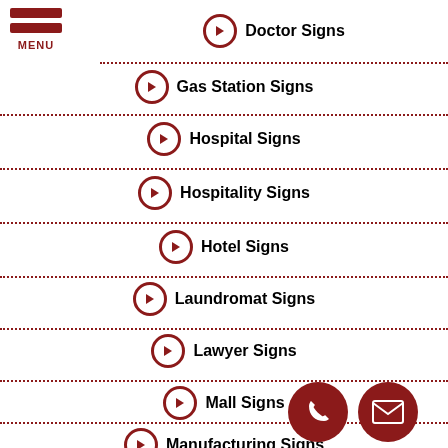Doctor Signs
Gas Station Signs
Hospital Signs
Hospitality Signs
Hotel Signs
Laundromat Signs
Lawyer Signs
Mall Signs
Manufacturing Signs